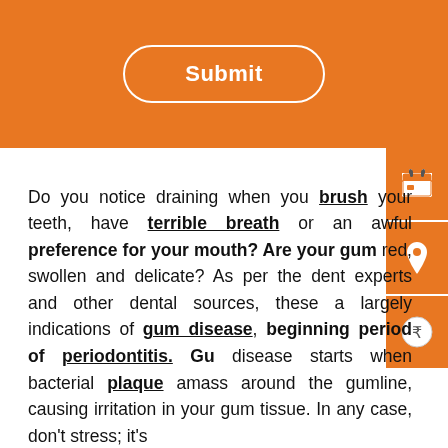[Figure (other): Orange banner with a Submit button (white rounded rectangle outline with bold white text 'Submit')]
Do you notice draining when you brush your teeth, have terrible breath or an awful preference for your mouth? Are your gum red, swollen and delicate? As per the dent experts and other dental sources, these a largely indications of gum disease, beginning period of periodontitis. Gu disease starts when bacterial plaque amass around the gumline, causing irritation in your gum tissue. In any case, don't stress; it's treatable. On the off chance that you need t
[Figure (other): Three orange icon boxes on the right side: calendar icon, location pin icon, and Indian Rupee coin icon]